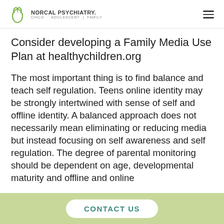NORCAL PSYCHIATRY. CHILD · ADOLESCENT · FAMILY
Consider developing a Family Media Use Plan at healthychildren.org
The most important thing is to find balance and teach self regulation. Teens online identity may be strongly intertwined with sense of self and offline identity. A balanced approach does not necessarily mean eliminating or reducing media but instead focusing on self awareness and self regulation. The degree of parental monitoring should be dependent on age, developmental maturity and offline and online
CONTACT US